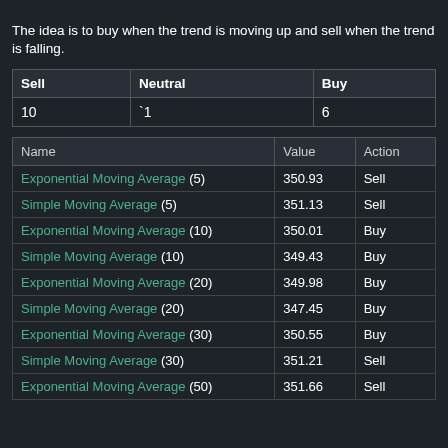The idea is to buy when the trend is moving up and sell when the trend is falling.
| Sell | Neutral | Buy |
| --- | --- | --- |
| 10 | `1 | 6 |
| Name | Value | Action |
| --- | --- | --- |
| Exponential Moving Average (5) | 350.93 | Sell |
| Simple Moving Average (5) | 351.13 | Sell |
| Exponential Moving Average (10) | 350.01 | Buy |
| Simple Moving Average (10) | 349.43 | Buy |
| Exponential Moving Average (20) | 349.98 | Buy |
| Simple Moving Average (20) | 347.45 | Buy |
| Exponential Moving Average (30) | 350.55 | Buy |
| Simple Moving Average (30) | 351.21 | Sell |
| Exponential Moving Average (50) | 351.66 | Sell |